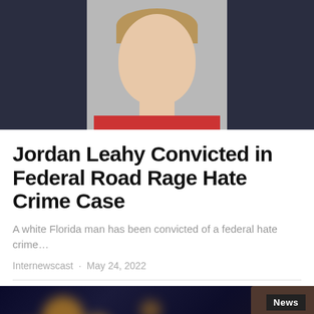[Figure (photo): Mugshot of Jordan Leahy, a young white man in a red shirt against a dark background]
Jordan Leahy Convicted in Federal Road Rage Hate Crime Case
A white Florida man has been convicted of a federal hate crime…
Internewscast · May 24, 2022
[Figure (photo): Night city scene with bokeh lights, person partially visible on right side. News badge in top right corner.]